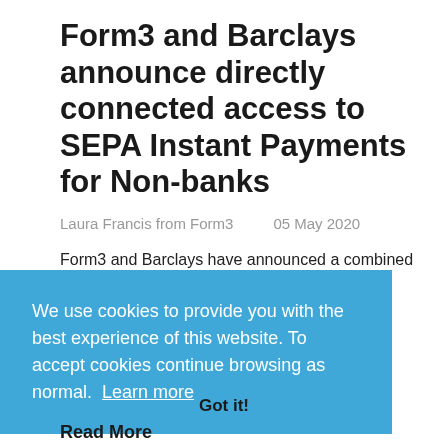Form3 and Barclays announce directly connected access to SEPA Instant Payments for Non-banks
Laura Francis from Form3    05 May 2020
Form3 and Barclays have announced a combined directly connected access
We use cookies to provide you with the best experience of this website. To accept cookies continue browsing as normal.  Learn more
Got it!
Read More